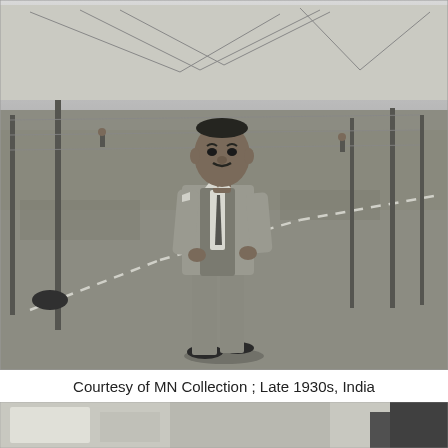[Figure (photo): Black and white photograph of a man in a suit and tie standing on a grassy field with poles and wire fencing in the background. Late 1930s, India.]
Courtesy of MN Collection ; Late 1930s, India
[Figure (photo): Partial black and white photograph visible at the bottom of the page, showing parts of what appear to be people or objects.]